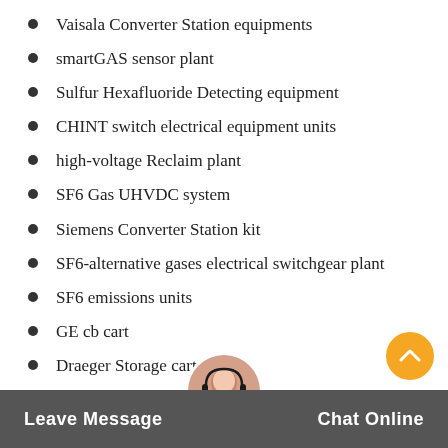Vaisala Converter Station equipments
smartGAS sensor plant
Sulfur Hexafluoride Detecting equipment
CHINT switch electrical equipment units
high-voltage Reclaim plant
SF6 Gas UHVDC system
Siemens Converter Station kit
SF6-alternative gases electrical switchgear plant
SF6 emissions units
GE cb cart
Draeger Storage cart
Siemens MV switchgear equipments
Vaisala Load break switch e…
GE GCB unit